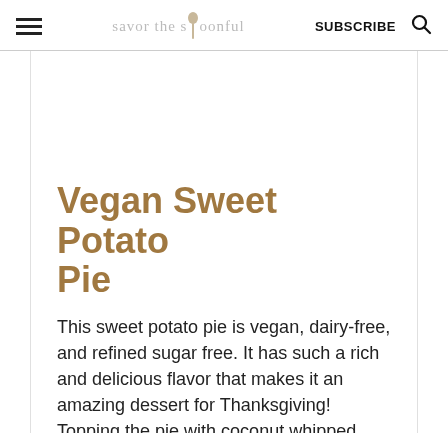savor the spoonful | SUBSCRIBE
Vegan Sweet Potato Pie
This sweet potato pie is vegan, dairy-free, and refined sugar free. It has such a rich and delicious flavor that makes it an amazing dessert for Thanksgiving! Topping the pie with coconut whipped cream and a dash of